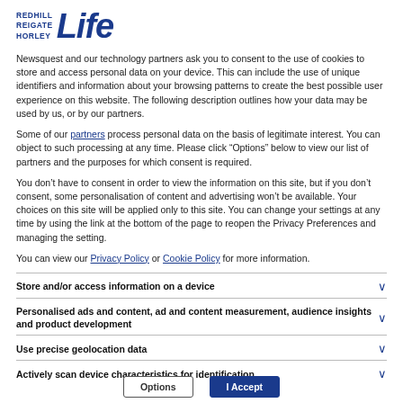[Figure (logo): Redhill Reigate Horley Life logo in blue]
Newsquest and our technology partners ask you to consent to the use of cookies to store and access personal data on your device. This can include the use of unique identifiers and information about your browsing patterns to create the best possible user experience on this website. The following description outlines how your data may be used by us, or by our partners.
Some of our partners process personal data on the basis of legitimate interest. You can object to such processing at any time. Please click “Options” below to view our list of partners and the purposes for which consent is required.
You don’t have to consent in order to view the information on this site, but if you don’t consent, some personalisation of content and advertising won’t be available. Your choices on this site will be applied only to this site. You can change your settings at any time by using the link at the bottom of the page to reopen the Privacy Preferences and managing the setting.
You can view our Privacy Policy or Cookie Policy for more information.
Store and/or access information on a device
Personalised ads and content, ad and content measurement, audience insights and product development
Use precise geolocation data
Actively scan device characteristics for identification